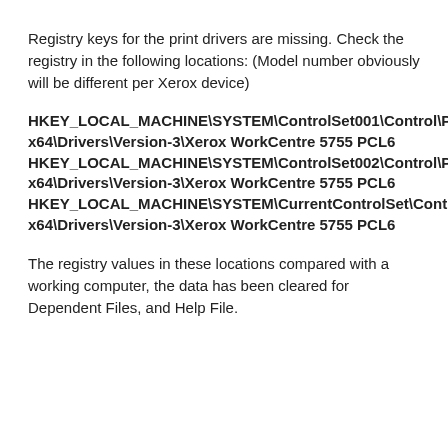Registry keys for the print drivers are missing. Check the registry in the following locations: (Model number obviously will be different per Xerox device)
HKEY_LOCAL_MACHINE\SYSTEM\ControlSet001\Control\Print\Environments\Windows x64\Drivers\Version-3\Xerox WorkCentre 5755 PCL6 HKEY_LOCAL_MACHINE\SYSTEM\ControlSet002\Control\Print\Environments\Windows x64\Drivers\Version-3\Xerox WorkCentre 5755 PCL6 HKEY_LOCAL_MACHINE\SYSTEM\CurrentControlSet\Control\Print\Environments\Windows x64\Drivers\Version-3\Xerox WorkCentre 5755 PCL6
The registry values in these locations compared with a working computer, the data has been cleared for Dependent Files, and Help File.